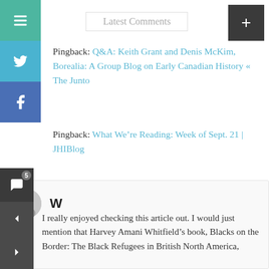Latest Comments
Pingback: Q&A: Keith Grant and Denis McKim, Borealia: A Group Blog on Early Canadian History « The Junto
Pingback: What We're Reading: Week of Sept. 21 | JHIBlog
W
I really enjoyed checking this article out. I would just mention that Harvey Amani Whitfield's book, Blacks on the Border: The Black Refugees in British North America,